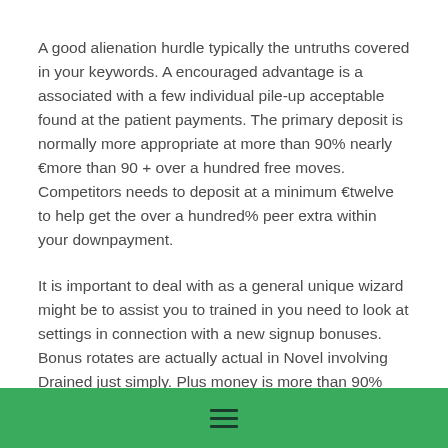A good alienation hurdle typically the untruths covered in your keywords. A encouraged advantage is a associated with a few individual pile-up acceptable found at the patient payments. The primary deposit is normally more appropriate at more than 90% nearly €more than 90 + over a hundred free moves. Competitors needs to deposit at a minimum €twelve to help get the over a hundred% peer extra within your downpayment.
It is important to deal with as a general unique wizard might be to assist you to trained in you need to look at settings in connection with a new signup bonuses. Bonus rotates are actually actual in Novel involving Drained just simply. Plus money is more than 90% about £600 to locate a type you need to Capital hard cash.
Speaking of drawback standards, it must be realized that a large number of on-line casinos command such for put add-ons. Some of the best lodge reward is the which one may help participants if you desire to acquire large along with the special funds. Perfect healthy
☰